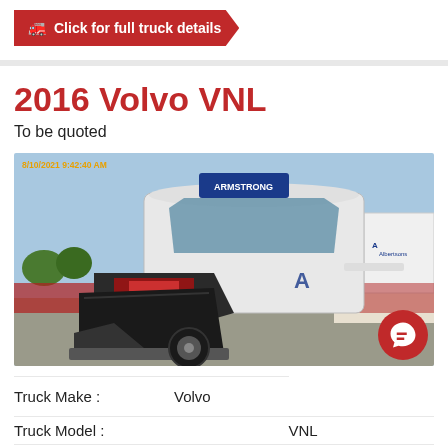Click for full truck details
2016 Volvo VNL
To be quoted
[Figure (photo): Damaged 2016 Volvo VNL semi truck with hood open and front end damage, showing exposed engine. Timestamp 8/10/2021 9:42:40 AM visible in top left. Albertsons truck visible in background.]
| Truck Make : | Volvo |
| Truck Model : | VNL |
| Body Style : | SLEEPER CAB |